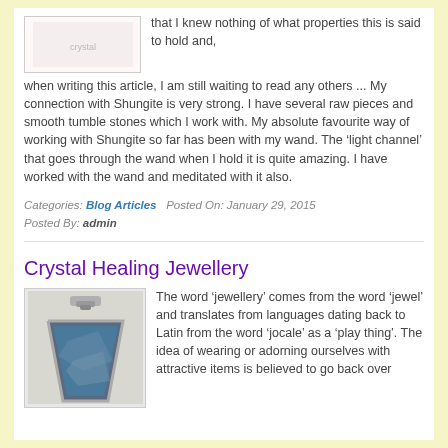[Figure (photo): Small image of a crystal or stone item, partially visible at top]
that I knew nothing of what properties this is said to hold and, when writing this article, I am still waiting to read any others ... My connection with Shungite is very strong. I have several raw pieces and smooth tumble stones which I work with. My absolute favourite way of working with Shungite so far has been with my wand. The ‘light channel’ that goes through the wand when I hold it is quite amazing. I have worked with the wand and meditated with it also.
Categories: Blog Articles   Posted On: January 29, 2015
Posted By: admin
Crystal Healing Jewellery
[Figure (photo): Photo of a crystal healing jewellery pendant - a triangular blue/grey stone set in silver metal]
The word ‘jewellery’ comes from the word ‘jewel’ and translates from languages dating back to Latin from the word ‘jocale’ as a ‘play thing’. The idea of wearing or adorning ourselves with attractive items is believed to go back over